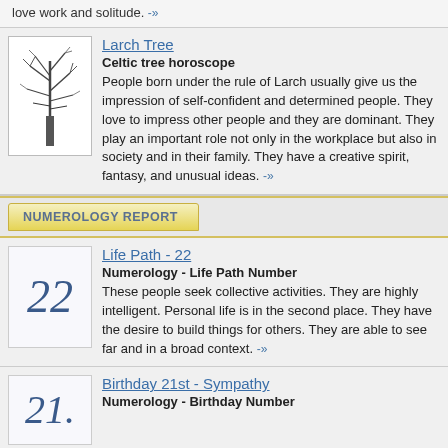love work and solitude. -»
[Figure (illustration): Drawing of a bare larch tree with no leaves, black ink style]
Larch Tree
Celtic tree horoscope
People born under the rule of Larch usually give us the impression of self-confident and determined people. They love to impress other people and they are dominant. They play an important role not only in the workplace but also in society and in their family. They have a creative spirit, fantasy, and unusual ideas. -»
NUMEROLOGY REPORT
[Figure (illustration): Stylized italic number 22 in blue script font]
Life Path - 22
Numerology - Life Path Number
These people seek collective activities. They are highly intelligent. Personal life is in the second place. They have the desire to build things for others. They are able to see far and in a broad context. -»
[Figure (illustration): Stylized italic number 21 in blue script font]
Birthday 21st - Sympathy
Numerology - Birthday Number